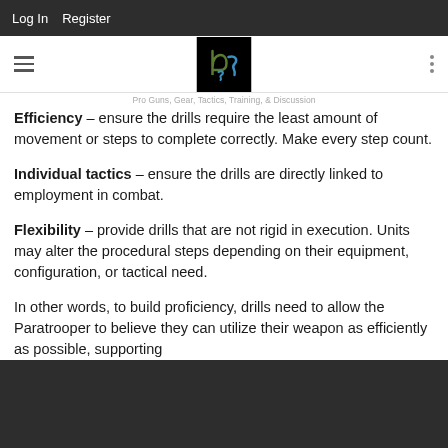Log In   Register
[Figure (logo): Pro Guns, Gear, Tactics, Training, & Discussion site logo — dark square with stylized 'pSs' letters in green and blue]
Pro Guns, Gear, Tactics, Training, & Discussion
Efficiency – ensure the drills require the least amount of movement or steps to complete correctly. Make every step count.
Individual tactics – ensure the drills are directly linked to employment in combat.
Flexibility – provide drills that are not rigid in execution. Units may alter the procedural steps depending on their equipment, configuration, or tactical need.
In other words, to build proficiency, drills need to allow the Paratrooper to believe they can utilize their weapon as efficiently as possible, supporting